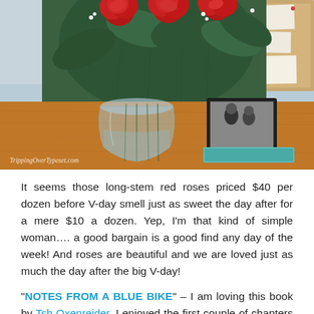[Figure (photo): Photo of a round glass vase with red roses and green foliage on a wooden desk, with a corkboard and framed photo in the background. Watermark reads 'TrippingOverTypeset.com' in bottom left corner.]
It seems those long-stem red roses priced $40 per dozen before V-day smell just as sweet the day after for a mere $10 a dozen. Yep, I'm that kind of simple woman…. a good bargain is a good find any day of the week!  And roses are beautiful and we are loved just as much the day after the big V-day!
“NOTES FROM A BLUE BIKE” – I am loving this book by Tsh Oxenreider.  I enjoyed the first couple of chapters and then became bogged down in the “food” chapters because the pressure of organic